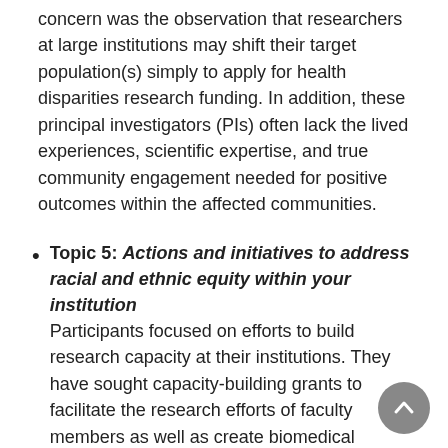concern was the observation that researchers at large institutions may shift their target population(s) simply to apply for health disparities research funding. In addition, these principal investigators (PIs) often lack the lived experiences, scientific expertise, and true community engagement needed for positive outcomes within the affected communities.
Topic 5: Actions and initiatives to address racial and ethnic equity within your institution Participants focused on efforts to build research capacity at their institutions. They have sought capacity-building grants to facilitate the research efforts of faculty members as well as create biomedical science experiences for trainees. They asserted that capacity is a prerequisite for increasing racial and ethnic equity in the biomedical sciences by